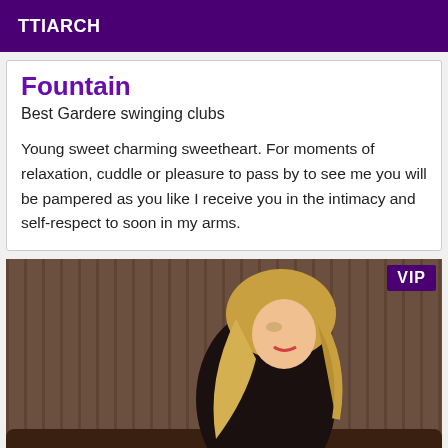TTIARCH
Fountain
Best Gardere swinging clubs
Young sweet charming sweetheart. For moments of relaxation, cuddle or pleasure to pass by to see me you will be pampered as you like I receive you in the intimacy and self-respect to soon in my arms.
[Figure (photo): Blonde woman in black lace outfit sitting on dark leather couch, with VIP badge in top-right corner]